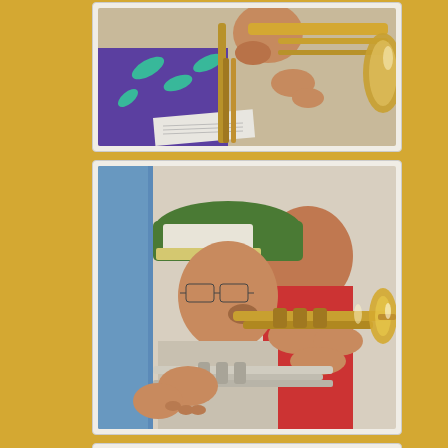[Figure (photo): Close-up of a person playing a trombone, wearing a colorful blue and teal floral shirt, holding sheet music, brass instrument visible]
[Figure (photo): Two musicians playing trumpets, the foreground player wears a green and white baseball cap and glasses, other players visible behind, brass instruments in silver and gold]
[Figure (photo): Partial view of a light gray background, bottom of a photo strip]